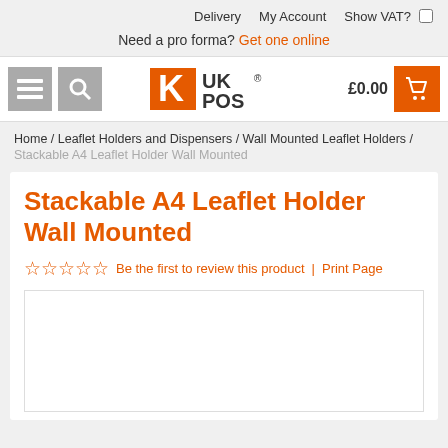Delivery   My Account   Show VAT?
Need a pro forma? Get one online
[Figure (logo): UKPOS logo with orange K and shopping cart icon, cart showing £0.00]
Home / Leaflet Holders and Dispensers / Wall Mounted Leaflet Holders / Stackable A4 Leaflet Holder Wall Mounted
Stackable A4 Leaflet Holder Wall Mounted
☆☆☆☆☆  Be the first to review this product  |  Print Page
[Figure (photo): Product image area (white/empty box)]